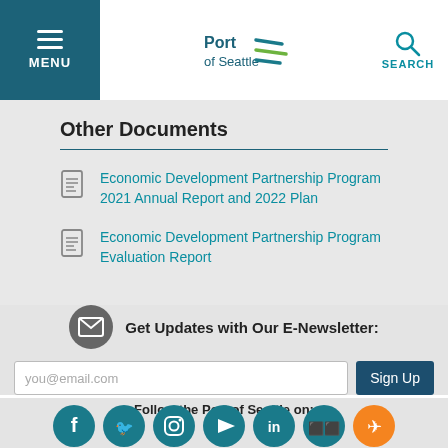MENU | Port of Seattle | SEARCH
Other Documents
Economic Development Partnership Program 2021 Annual Report and 2022 Plan
Economic Development Partnership Program Evaluation Report
Get Updates with Our E-Newsletter:
you@email.com
Sign Up
Follow the Port of Seattle on:
[Figure (illustration): Social media icons: Facebook, Twitter, Instagram, YouTube, LinkedIn, Flickr, and an airplane/airport icon]